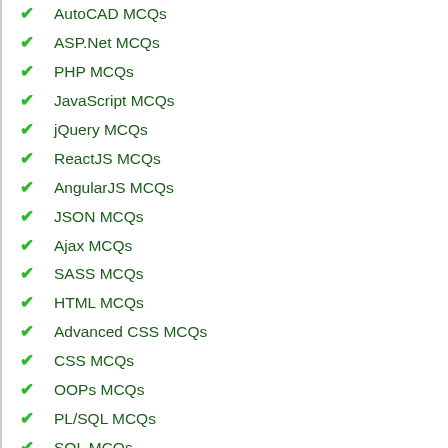AutoCAD MCQs
ASP.Net MCQs
PHP MCQs
JavaScript MCQs
jQuery MCQs
ReactJS MCQs
AngularJS MCQs
JSON MCQs
Ajax MCQs
SASS MCQs
HTML MCQs
Advanced CSS MCQs
CSS MCQs
OOPs MCQs
PL/SQL MCQs
SQL MCQs
Oracle MCQs
SQLite MCQs
MS Word MCQs